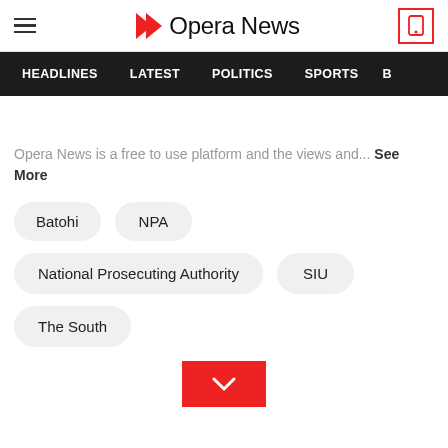Opera News — HEADLINES  LATEST  POLITICS  SPORTS
Opera News is a free to use platform and the views and... See More
Batohi
NPA
National Prosecuting Authority
SIU
The South